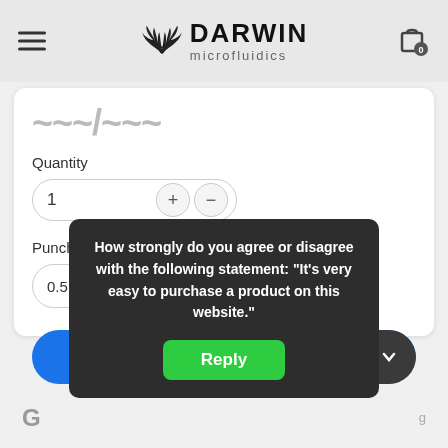Darwin microfluidics
...
Quantity
1
Punched hole size
0.5 mm
Add to cart/quote
How strongly do you agree or disagree with the following statement: "It's very easy to purchase a product on this website."
Reply
G